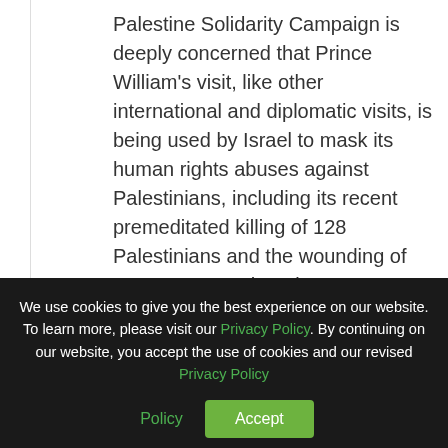Palestine Solidarity Campaign is deeply concerned that Prince William's visit, like other international and diplomatic visits, is being used by Israel to mask its human rights abuses against Palestinians, including its recent premeditated killing of 128 Palestinians and the wounding of some 14,000 others in Gaza, including journalists, medics, and children.
In the aftermath of the killings, Israel has continued to refuse demands for an independent investigation. This visit by Prince
We use cookies to give you the best experience on our website. To learn more, please visit our Privacy Policy. By continuing on our website, you accept the use of cookies and our revised Privacy Policy